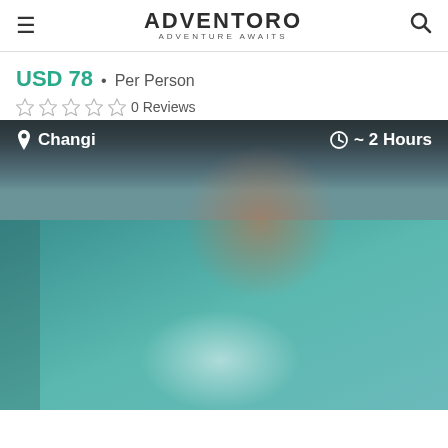ADVENTORO ADVENTURE AWAITS
USD 78 • Per Person
0 Reviews
[Figure (photo): Blurred outdoor water activity photo showing turquoise/teal water and a person, with location overlay 'Changi' and duration '~ 2 Hours']